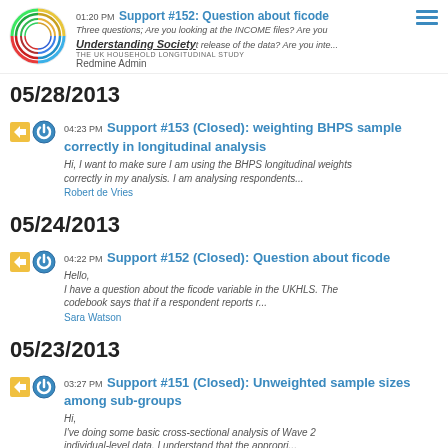01:20 PM Support #152: Question about ficode — Three questions; Are you looking at the INCOME files? Are you... Redmine Admin
05/28/2013
04:23 PM Support #153 (Closed): weighting BHPS sample correctly in longitudinal analysis — Hi, I want to make sure I am using the BHPS longitudinal weights correctly in my analysis. I am analysing respondents... — Robert de Vries
05/24/2013
04:22 PM Support #152 (Closed): Question about ficode — Hello, I have a question about the ficode variable in the UKHLS. The codebook says that if a respondent reports r... — Sara Watson
05/23/2013
03:27 PM Support #151 (Closed): Unweighted sample sizes among sub-groups — Hi, I've doing some basic cross-sectional analysis of Wave 2 individual-level data. I understand that the appropri...